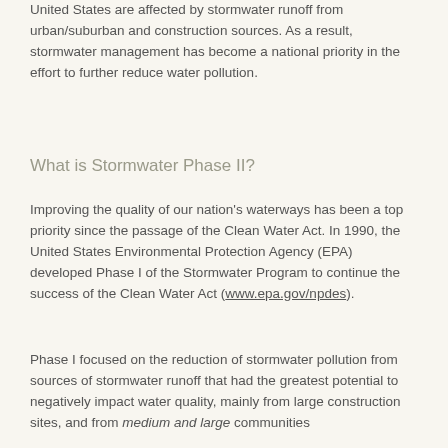United States are affected by stormwater runoff from urban/suburban and construction sources. As a result, stormwater management has become a national priority in the effort to further reduce water pollution.
What is Stormwater Phase II?
Improving the quality of our nation's waterways has been a top priority since the passage of the Clean Water Act. In 1990, the United States Environmental Protection Agency (EPA) developed Phase I of the Stormwater Program to continue the success of the Clean Water Act (www.epa.gov/npdes).
Phase I focused on the reduction of stormwater pollution from sources of stormwater runoff that had the greatest potential to negatively impact water quality, mainly from large construction sites, and from medium and large communities